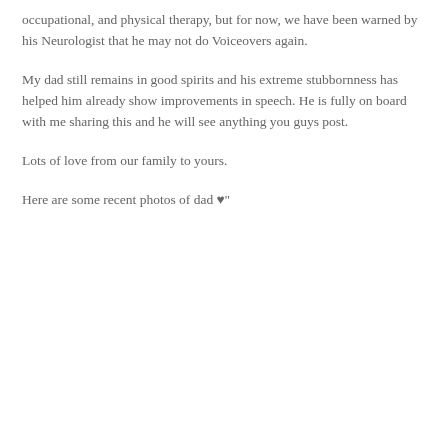occupational, and physical therapy, but for now, we have been warned by his Neurologist that he may not do Voiceovers again.
My dad still remains in good spirits and his extreme stubbornness has helped him already show improvements in speech. He is fully on board with me sharing this and he will see anything you guys post.
Lots of love from our family to yours.
Here are some recent photos of dad ♥"